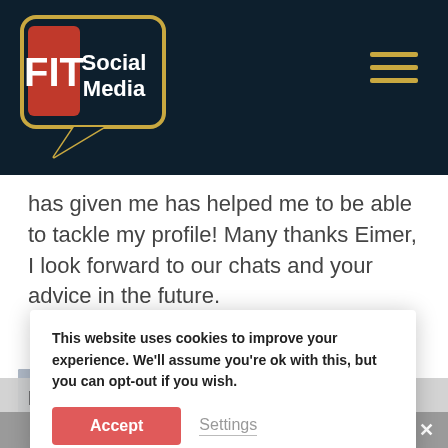FIT Social Media
has given me has helped me to be able to tackle my profile! Many thanks Eimer, I look forward to our chats and your advice in the future.
[Figure (photo): Profile photo of a bald man with glasses wearing a blazer, smiling]
[Figure (other): Five gold stars rating with a gold horizontal line]
Corry King
This website uses cookies to improve your experience. We'll assume you're ok with this, but you can opt-out if you wish.
Accept
Settings
provides the solutions to the specialist needs
Share This